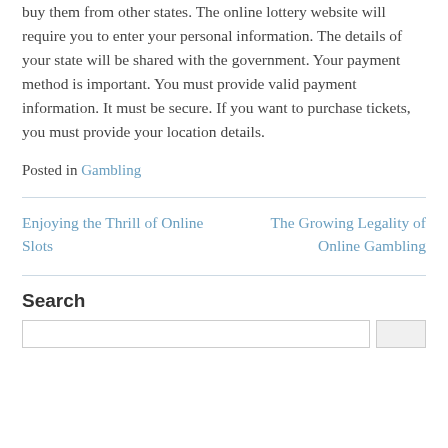buy them from other states. The online lottery website will require you to enter your personal information. The details of your state will be shared with the government. Your payment method is important. You must provide valid payment information. It must be secure. If you want to purchase tickets, you must provide your location details.
Posted in Gambling
Enjoying the Thrill of Online Slots
The Growing Legality of Online Gambling
Search